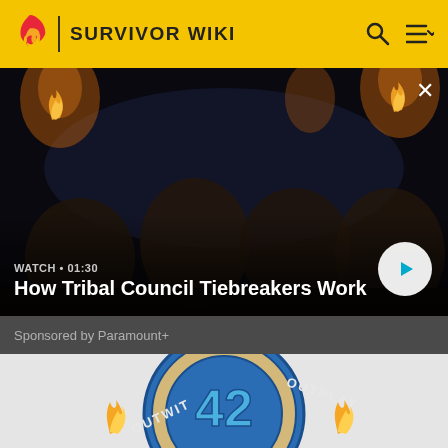SURVIVOR WIKI
[Figure (screenshot): Video thumbnail showing tribal council scene at night with torches, people sitting around. Shows 'WATCH • 01:30' and title 'How Tribal Council Tiebreakers Work' with a play button. Sponsored by Paramount+.]
WATCH • 01:30
How Tribal Council Tiebreakers Work
Sponsored by Paramount+
[Figure (logo): Survivor 42 season logo with 'OUTWIT OUTPLAY' text in a circular badge design with blue and orange colors and flame graphics]